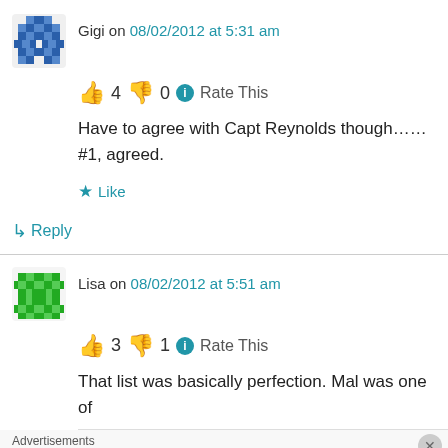Gigi on 08/02/2012 at 5:31 am
👍 4 👎 0 ℹ Rate This
Have to agree with Capt Reynolds though……
#1, agreed.
★ Like
↳ Reply
Lisa on 08/02/2012 at 5:51 am
👍 3 👎 1 ℹ Rate This
That list was basically perfection. Mal was one of
Advertisements
Launch your online course with WordPress
Learn More